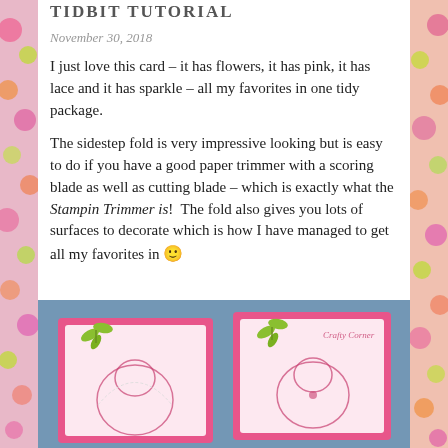TIDBIT TUTORIAL
November 30, 2018
I just love this card – it has flowers, it has pink, it has lace and it has sparkle – all my favorites in one tidy package.
The sidestep fold is very impressive looking but is easy to do if you have a good paper trimmer with a scoring blade as well as cutting blade – which is exactly what the Stampin Trimmer is!  The fold also gives you lots of surfaces to decorate which is how I have managed to get all my favorites in 🙂
[Figure (photo): Photo of two handmade pink greeting cards with flower designs, lace elements, and green leaf embellishments on a blue background]